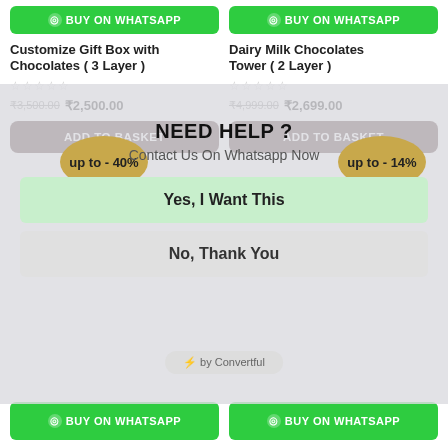BUY ON WHATSAPP (top left)
BUY ON WHATSAPP (top right)
Customize Gift Box with Chocolates ( 3 Layer )
₹3,500.00 ₹2,500.00
ADD TO BASKET
Dairy Milk Chocolates Tower ( 2 Layer )
₹4,999.00 ₹2,699.00
ADD TO BASKET
up to - 40%
NEED HELP ?
up to - 14%
Contact Us On Whatsapp Now
Yes, I Want This
No, Thank You
⚡ by Convertful
BUY ON WHATSAPP (bottom left)
BUY ON WHATSAPP (bottom right)